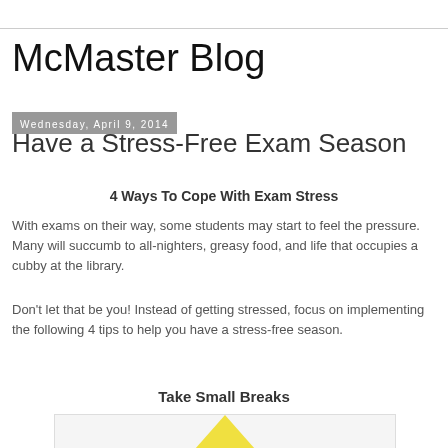McMaster Blog
Wednesday, April 9, 2014
Have a Stress-Free Exam Season
4 Ways To Cope With Exam Stress
With exams on their way, some students may start to feel the pressure. Many will succumb to all-nighters, greasy food, and life that occupies a cubby at the library.
Don't let that be you! Instead of getting stressed, focus on implementing the following 4 tips to help you have a stress-free season.
Take Small Breaks
[Figure (illustration): Partial view of an illustration — yellow triangle shape visible at bottom of a light gray box]